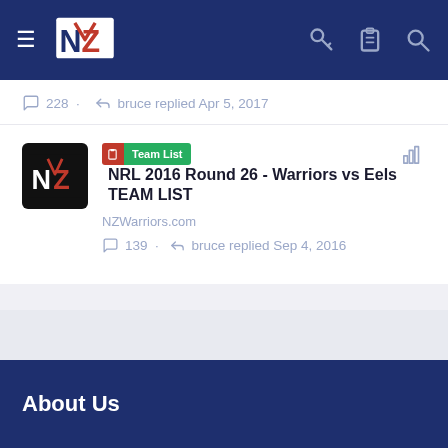NZ Warriors Forum navigation bar
228 · bruce replied Apr 5, 2017
Team List NRL 2016 Round 26 - Warriors vs Eels TEAM LIST
NZWarriors.com
139 · bruce replied Sep 4, 2016
< Warriors Discussion
About Us